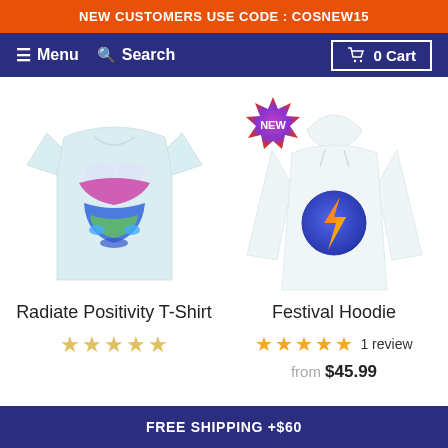NEW CUSTOMERS USE CODE : COSNEW15
Menu  Search  0 Cart
[Figure (photo): Light blue t-shirt with colorful psychedelic graphic]
[Figure (photo): White hoodie with lightning bolt graphic; NEW badge overlay]
Radiate Positivity T-Shirt
Festival Hoodie
☆☆☆☆☆ (0 reviews)
★★★★★ 1 review
from $45.99
FREE SHIPPING +$60